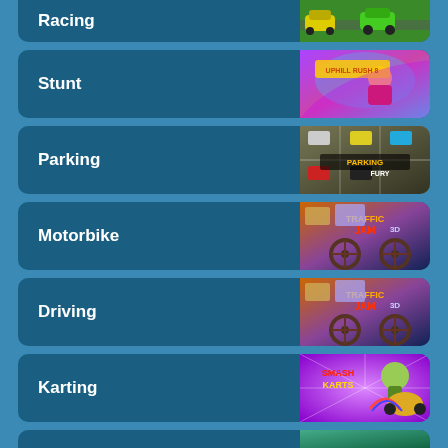Racing
Stunt
Parking
Motorbike
Driving
Karting